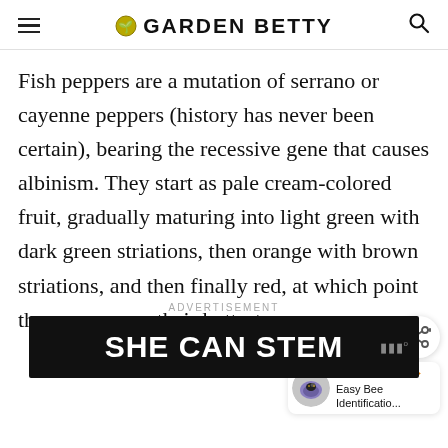GARDEN BETTY
Fish peppers are a mutation of serrano or cayenne peppers (history has never been certain), bearing the recessive gene that causes albinism. They start as pale cream-colored fruit, gradually maturing into light green with dark green striations, then orange with brown striations, and then finally red, at which point the peppers are their hottest.
[Figure (other): Share button icon (circular button with share symbol)]
[Figure (other): What's Next promo: circular photo of a bee on purple flower, text reading WHAT'S NEXT → Easy Bee Identificatio...]
ADVERTISEMENT
[Figure (other): Advertisement banner with dark background reading SHE CAN STEM in white bold text, with a small logo on the right]